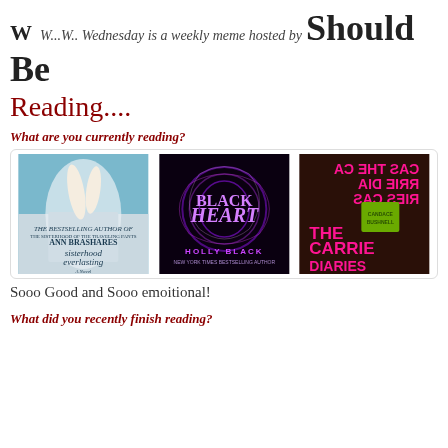W  W...W.. Wednesday is a weekly meme hosted by Should Be Reading....
What are you currently reading?
[Figure (photo): Three book covers side by side: 'Sisterhood Everlasting' by Ann Brashares, 'Black Heart' by Holly Black, and 'The Carrie Diaries']
Sooo Good and Sooo emoitional!
What did you recently finish reading?